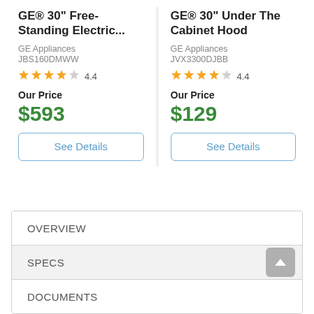GE® 30" Free-Standing Electric...
GE Appliances
JBS160DMWW
★★★★☆ 4.4
Our Price
$593
See Details
GE® 30" Under The Cabinet Hood
GE Appliances
JVX3300DJBB
★★★★☆ 4.4
Our Price
$129
See Details
OVERVIEW
SPECS
DOCUMENTS